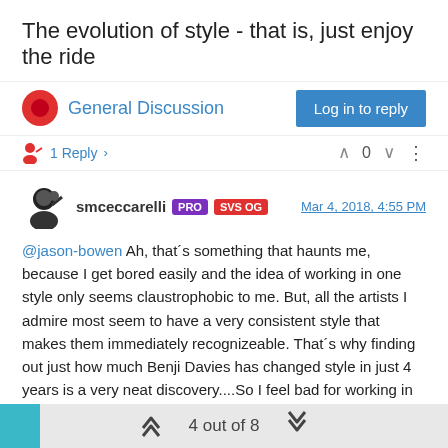The evolution of style - that is, just enjoy the ride
General Discussion
Log in to reply
1 Reply
0
smceccarelli  PRO  SVS OG   Mar 4, 2018, 4:55 PM
@jason-bowen Ah, that´s something that haunts me, because I get bored easily and the idea of working in one style only seems claustrophobic to me. But, all the artists I admire most seem to have a very consistent style that makes them immediately recognizeable. That´s why finding out just how much Benji Davies has changed style in just 4 years is a very neat discovery....So I feel bad for working in different styles, etc...
Now, my agent told me already 4 times (because I harass her with the same issue) that it doesn´t really matter in how many styles you work, as long as all are good and all are exemplified by at least five strong pieces. Then, she can market them all (to different people
4 out of 8